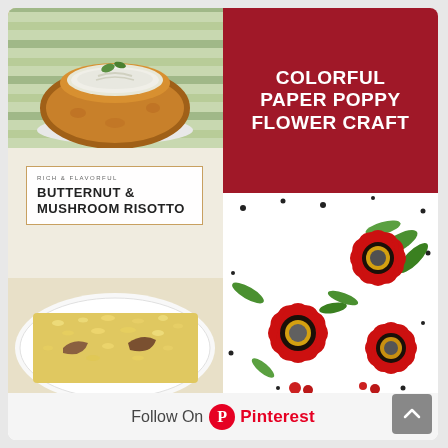[Figure (photo): Photo of a bread bowl filled with creamy dip, on a green striped surface]
[Figure (photo): Recipe card image for Butternut & Mushroom Risotto with text overlay and close-up photo of the dish]
[Figure (illustration): Red background with white text reading COLORFUL PAPER POPPY FLOWER CRAFT]
[Figure (photo): Paper craft poppy flowers in red with yellow and dark centers on white background with green leaves and black dots]
Follow On Pinterest